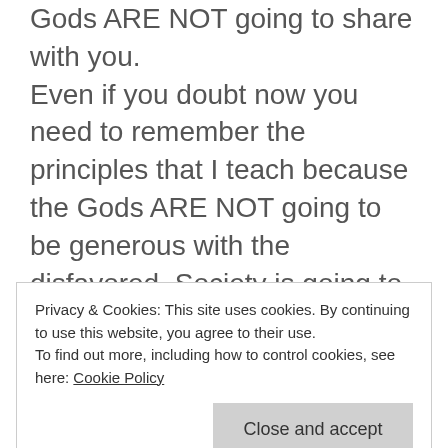Gods ARE NOT going to share with you. Even if you doubt now you need to remember the principles that I teach because the Gods ARE NOT going to be generous with the disfavored. Society is going to become disturbingly ugly as we approach the Apocalypse due to spiralling, runaway disfavor, WHETHER CONCEALED IN REVERSE POSITIONING OR NOT (like Christianity, like money), and you are going to be on your own. I do not know when this will occurr, but it is the God's way to grant some time after a learning
Privacy & Cookies: This site uses cookies. By continuing to use this website, you agree to their use.
To find out more, including how to control cookies, see here: Cookie Policy
Close and accept
doubt and refusal to abandon what people